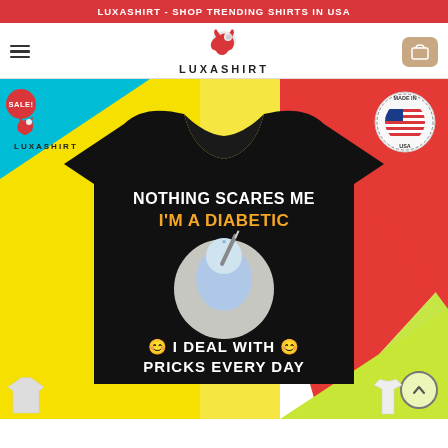LUXASHIRT - SHOP TRENDING SHIRTS IN USA
[Figure (logo): Luxashirt logo with dog icon and text LUXASHIRT]
[Figure (photo): T-shirt product image on colorful background. Shirt reads: NOTHING SCARES ME I'M A DIABETIC I DEAL WITH PRICKS EVERY DAY. Has SALE badge, LUXASHIRT watermark, Made In USA badge, and scroll-up button.]